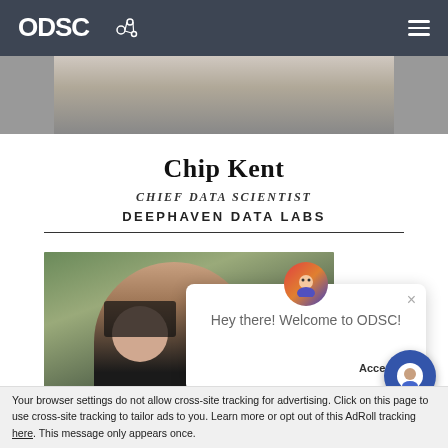ODSC
[Figure (photo): Partial photo of a person (Chip Kent) at top of page]
Chip Kent
CHIEF DATA SCIENTIST
DEEPHAVEN DATA LABS
[Figure (photo): Photo of a person with dark hair and glasses, outdoors]
[Figure (screenshot): Chat popup overlay: 'Hey there! Welcome to ODSC!' with close button and avatar icon]
Accep
Your browser settings do not allow cross-site tracking for advertising. Click on this page to use cross-site tracking to tailor ads to you. Learn more or opt out of this AdRoll tracking here. This message only appears once.